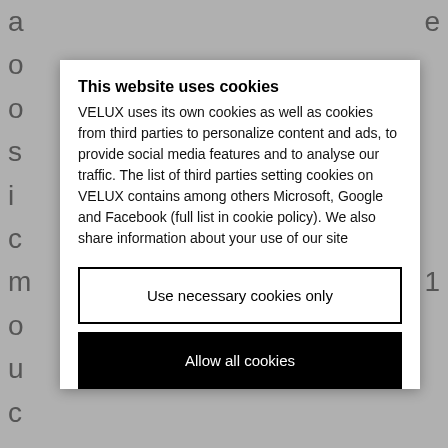a
o
o
s
i
c
m
o
u
c
e
c
e
1
d
r
This website uses cookies
VELUX uses its own cookies as well as cookies from third parties to personalize content and ads, to provide social media features and to analyse our traffic. The list of third parties setting cookies on VELUX contains among others Microsoft, Google and Facebook (full list in cookie policy). We also share information about your use of our site
Use necessary cookies only
Allow all cookies
A
v
H
p
N
c